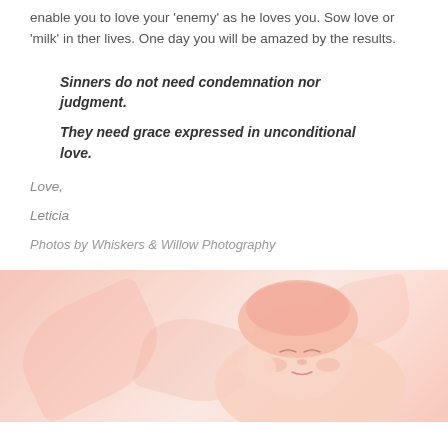enable you to love your 'enemy' as he loves you. Sow love or 'milk' in ther lives. One day you will be amazed by the results.
Sinners do not need condemnation nor judgment.
They need grace expressed in unconditional love.
Love,
Leticia
Photos by Whiskers & Willow Photography
[Figure (photo): Close-up photo of a sleeping newborn baby wearing a pink hood/hat, against a soft pink background with petal shapes.]